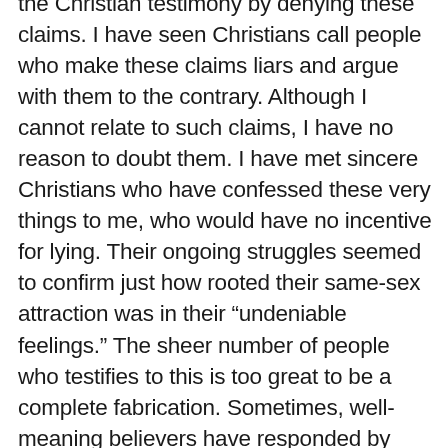the Christian testimony by denying these claims. I have seen Christians call people who make these claims liars and argue with them to the contrary. Although I cannot relate to such claims, I have no reason to doubt them. I have met sincere Christians who have confessed these very things to me, who would have no incentive for lying. Their ongoing struggles seemed to confirm just how rooted their same-sex attraction was in their “undeniable feelings.” The sheer number of people who testifies to this is too great to be a complete fabrication. Sometimes, well-meaning believers have responded by asserting that there cannot be any natural impulse behind same-sex